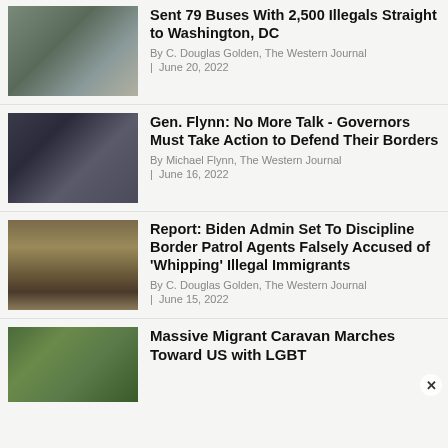[Figure (photo): People boarding a bus, immigration scene]
Sent 79 Buses With 2,500 Illegals Straight to Washington, DC
By C. Douglas Golden, The Western Journal
| June 20, 2022
[Figure (photo): Man in suit, Gen. Flynn portrait]
Gen. Flynn: No More Talk - Governors Must Take Action to Defend Their Borders
By Michael Flynn, The Western Journal
| June 16, 2022
[Figure (photo): Border wall with vehicle in dusty landscape]
Report: Biden Admin Set To Discipline Border Patrol Agents Falsely Accused of 'Whipping' Illegal Immigrants
By C. Douglas Golden, The Western Journal
| June 15, 2022
[Figure (photo): Migrant caravan with LGBT rainbow flag]
Massive Migrant Caravan Marches Toward US with LGBT